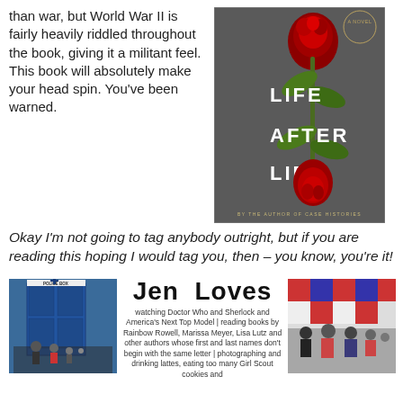Atkinson is about more than war, but World War II is fairly heavily riddled throughout the book, giving it a militant feel. This book will absolutely make your head spin. You've been warned.
[Figure (illustration): Book cover of 'Life After Life - A Novel' by the author of Case Histories, showing two red roses on a dark grey background with gold stem]
Okay I'm not going to tag anybody outright, but if you are reading this hoping I would tag you, then – you know, you're it!
[Figure (photo): Photo of a family in front of a blue TARDIS police box]
Jen Loves
watching Doctor Who and Sherlock and America's Next Top Model | reading books by Rainbow Rowell, Marissa Meyer, Lisa Lutz and other authors whose first and last names don't begin with the same letter | photographing and drinking lattes, eating too many Girl Scout cookies and
[Figure (photo): Photo of a family group with a quilt in the background]